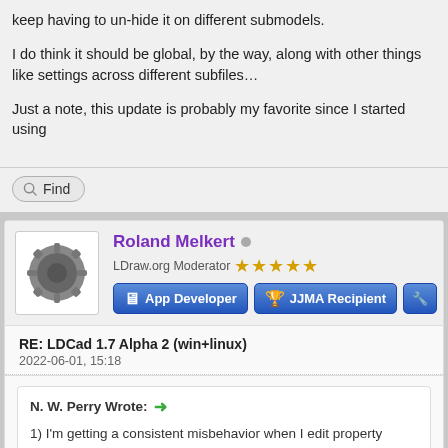keep having to un-hide it on different submodels.
I do think it should be global, by the way, along with other things like settings across different subfiles…
Just a note, this update is probably my favorite since I started using
Find
Roland Melkert
LDraw.org Moderator ★★★★★
App Developer
JJMA Recipient
RE: LDCad 1.7 Alpha 2 (win+linux)
2022-06-01, 15:18
N. W. Perry Wrote:
1) I'm getting a consistent misbehavior when I edit property dial… changes, it only closes the dialog.